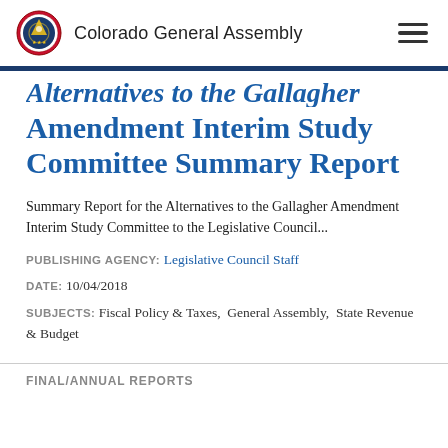Colorado General Assembly
Alternatives to the Gallagher Amendment Interim Study Committee Summary Report
Summary Report for the Alternatives to the Gallagher Amendment Interim Study Committee to the Legislative Council...
PUBLISHING AGENCY: Legislative Council Staff
DATE: 10/04/2018
SUBJECTS: Fiscal Policy & Taxes,  General Assembly,  State Revenue & Budget
FINAL/ANNUAL REPORTS